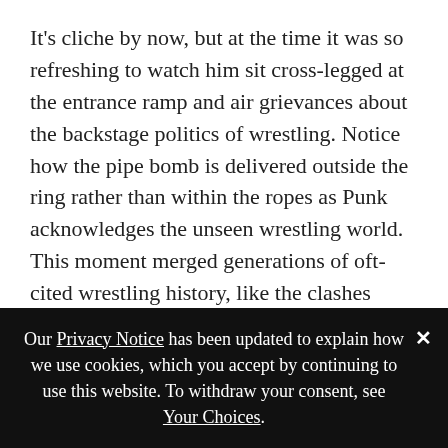It's cliche by now, but at the time it was so refreshing to watch him sit cross-legged at the entrance ramp and air grievances about the backstage politics of wrestling. Notice how the pipe bomb is delivered outside the ring rather than within the ropes as Punk acknowledges the unseen wrestling world. This moment merged generations of oft-cited wrestling history, like the clashes between Steve Austin and Vince McMahon and the over-cited Montreal Screwjob. Punk wasn't just a darling wrestler of the indie scene. It is that moment when a fictional character/heightened persona is both particular and universal. The monologue spoke to all disgruntled employees frustrated with management that makes
Our Privacy Notice has been updated to explain how we use cookies, which you accept by continuing to use this website. To withdraw your consent, see Your Choices.